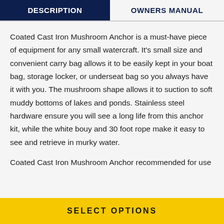DESCRIPTION | OWNERS MANUAL
Coated Cast Iron Mushroom Anchor is a must-have piece of equipment for any small watercraft. It's small size and convenient carry bag allows it to be easily kept in your boat bag, storage locker, or underseat bag so you always have it with you. The mushroom shape allows it to suction to soft muddy bottoms of lakes and ponds. Stainless steel hardware ensure you will see a long life from this anchor kit, while the white bouy and 30 foot rope make it easy to see and retrieve in murky water.
Coated Cast Iron Mushroom Anchor recommended for use
SELECT OPTIONS